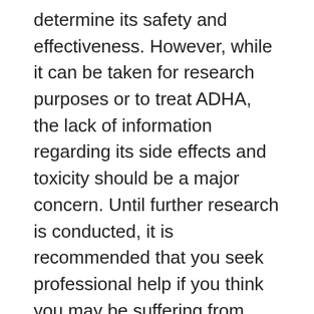determine its safety and effectiveness. However, while it can be taken for research purposes or to treat ADHA, the lack of information regarding its side effects and toxicity should be a major concern. Until further research is conducted, it is recommended that you seek professional help if you think you may be suffering from these conditions.
Cyclazodone has similar effects to amphetamine, albeit much weaker. It has a low-to-moderate affinity for serotonin, and similar to other central nervous system stimulants. However, unlike methamphetamine, it does not cause physical dependence. Cyclazodone is not a substitute for